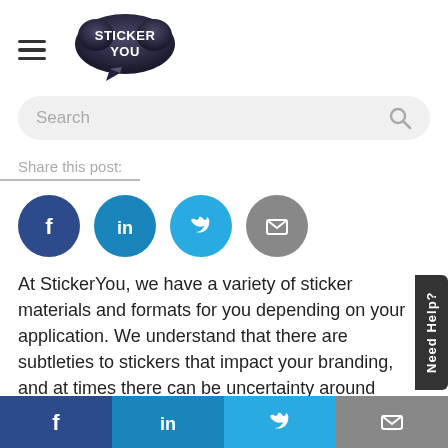[Figure (logo): StickerYou logo — dark speech-bubble shape with white 'STICKER YOU' text and a curling corner, next to a hamburger menu icon]
[Figure (screenshot): Search bar with placeholder text 'Search' and a magnifying glass icon on the right, rounded rectangle with light grey background]
Share this post:
[Figure (infographic): Row of four circular social media icons: Facebook (dark blue), LinkedIn (medium blue), Twitter (light blue), Email (grey)]
At StickerYou, we have a variety of sticker materials and formats for you depending on your application. We understand that there are subtleties to stickers that impact your branding, and at times there can be uncertainty around what the best choice for your brand is.
[Figure (infographic): Bottom navigation bar with four sections: Facebook (dark blue), LinkedIn (medium blue), Twitter (light blue), Email (grey), each showing the respective icon in white]